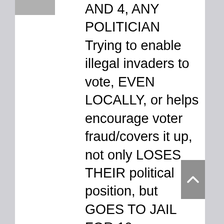[Figure (photo): Small avatar/profile photo thumbnail partially visible at top left]
AND 4, ANY POLITICIAN Trying to enable illegal invaders to vote, EVEN LOCALLY, or helps encourage voter fraud/covers it up, not only LOSES THEIR political position, but GOES TO JAIL FOR 10 years minimum, BUT GETS PERMANENTLY STRIPPED of their US citizenship, and